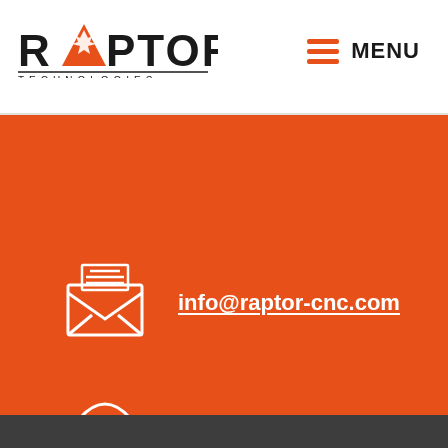[Figure (logo): Raptor Technologies logo with stylized raptor head forming the letter A, and TECHNOLOGIES text below]
MENU
info@raptor-cnc.com
+420 777 210 149